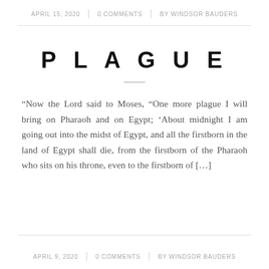APRIL 15, 2020 | 0 COMMENTS | BY WINDSOR BAUDERS
PLAGUE
“Now the Lord said to Moses, “One more plague I will bring on Pharaoh and on Egypt; ‘About midnight I am going out into the midst of Egypt, and all the firstborn in the land of Egypt shall die, from the firstborn of the Pharaoh who sits on his throne, even to the firstborn of [...]
APRIL 9, 2020 | 0 COMMENTS | BY WINDSOR BAUDERS